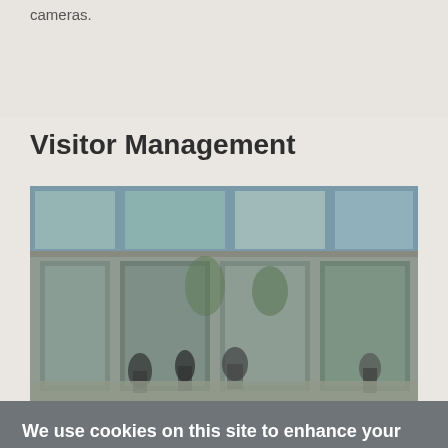cameras.
Visitor Management
[Figure (photo): Photo of a modern glass building entrance with revolving doors and people walking through]
We use cookies on this site to enhance your user experience
We use cookies on our website to give you the most relevant experience by remembering your preferences and